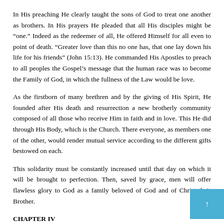In His preaching He clearly taught the sons of God to treat one another as brothers. In His prayers He pleaded that all His disciples might be “one.” Indeed as the redeemer of all, He offered Himself for all even to point of death. “Greater love than this no one has, that one lay down his life for his friends” (John 15:13). He commanded His Apostles to preach to all peoples the Gospel’s message that the human race was to become the Family of God, in which the fullness of the Law would be love.
As the firstborn of many brethren and by the giving of His Spirit, He founded after His death and resurrection a new brotherly community composed of all those who receive Him in faith and in love. This He did through His Body, which is the Church. There everyone, as members one of the other, would render mutual service according to the different gifts bestowed on each.
This solidarity must be constantly increased until that day on which it will be brought to perfection. Then, saved by grace, men will offer flawless glory to God as a family beloved of God and of Christ their Brother.
CHAPTER IV